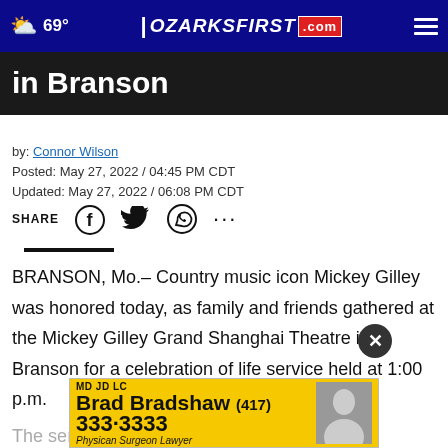69° | OZARKSFIRST.com
in Branson
by: Connor Wilson
Posted: May 27, 2022 / 04:45 PM CDT
Updated: May 27, 2022 / 06:08 PM CDT
SHARE
BRANSON, Mo.– Country music icon Mickey Gilley was honored today, as family and friends gathered at the Mickey Gilley Grand Shanghai Theatre in Branson for a celebration of life service held at 1:00 p.m.
The se... s of
[Figure (advertisement): Brad Bradshaw MD JD LC advertisement - Physician Surgeon Lawyer - phone (417) 333-3333]